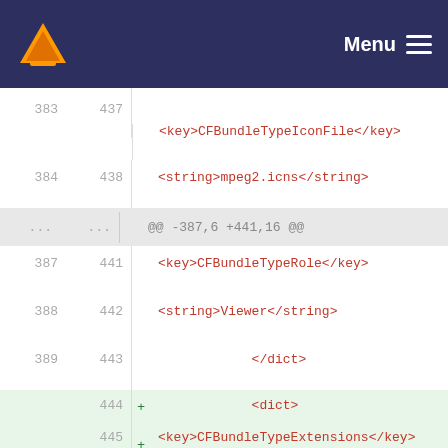VLC Menu
[Figure (screenshot): Code diff view showing XML plist file changes with line numbers. Old lines 383-389 and new lines 437-443 show context with CFBundleTypeIconFile, CFBundleTypeRole, Viewer, and dict tags. New lines 444-449 added with green background showing CFBundleTypeExtensions, array, mpa string, /array, and CFBundleTypeName tags.]